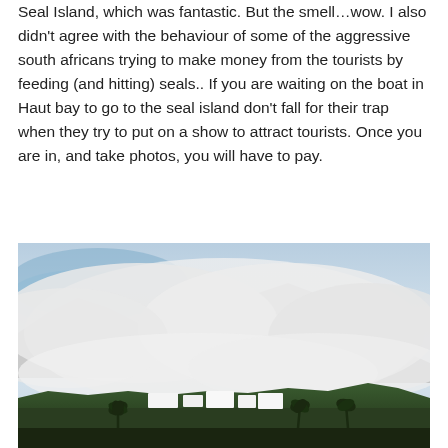Seal Island, which was fantastic. But the smell…wow. I also didn't agree with the behaviour of some of the aggressive south africans trying to make money from the tourists by feeding (and hitting) seals.. If you are waiting on the boat in Haut bay to go to the seal island don't fall for their trap when they try to put on a show to attract tourists. Once you are in, and take photos, you will have to pay.
[Figure (photo): A photograph of a misty mountainside with heavy clouds rolling over the peaks, with white buildings and palm trees visible at the base of the mountain, taken in what appears to be the Cape Town / Hout Bay area of South Africa.]